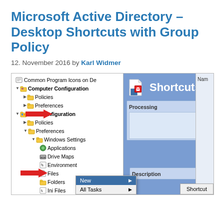Microsoft Active Directory – Desktop Shortcuts with Group Policy
12. November 2016 by Karl Widmer
[Figure (screenshot): Screenshot of Windows Group Policy Management Editor showing a tree view with Computer Configuration and User Configuration nodes. User Configuration > Preferences > Windows Settings > Shortcuts is selected. The right panel shows a 'Shortcuts' header with Processing and Description sections. A red arrow points to 'User Configuration' and another red arrow points to 'Shortcuts'. A context menu shows 'New > Shortcut' and 'All Tasks' options.]